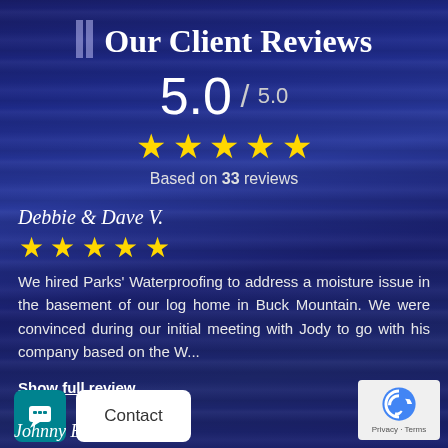Our Client Reviews
5.0 / 5.0
[Figure (infographic): Five gold stars rating display]
Based on 33 reviews
Debbie & Dave V.
[Figure (infographic): Five gold stars for reviewer]
We hired Parks' Waterproofing to address a moisture issue in the basement of our log home in Buck Mountain. We were convinced during our initial meeting with Jody to go with his company based on the W...
Show full review
Johnny E.